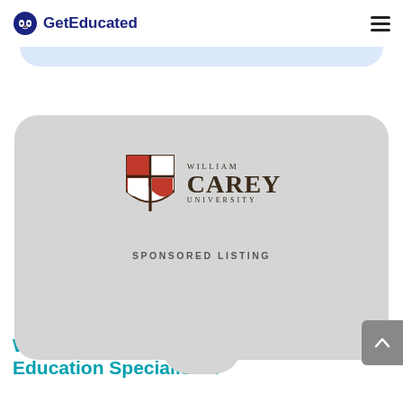GetEducated
[Figure (logo): William Carey University shield logo with red and white quadrants, cross overlay, beside text WILLIAM CAREY UNIVERSITY]
SPONSORED LISTING
William Carey University Education Specialist in